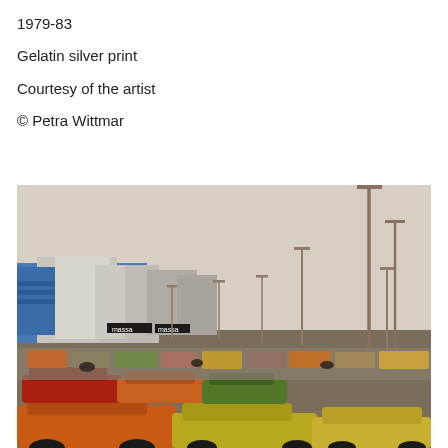1979-83
Gelatin silver print
Courtesy of the artist
© Petra Wittmar
[Figure (photo): Color photograph of a busy parking lot filled with 1970s-era cars in orange, red, green, and yellow tones. In the background are large industrial or commercial buildings with blue facades and street lamps. The sky is hazy and light gray. A sign reading 'massa' is visible on one of the buildings.]